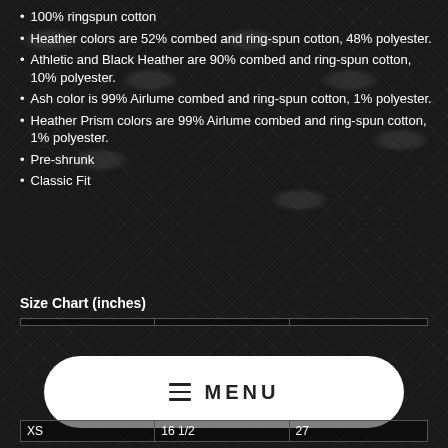100% ringspun cotton
Heather colors are 52% combed and ring-spun cotton, 48% polyester.
Athletic and Black Heather are 90% combed and ring-spun cotton, 10% polyester.
Ash color is 99% Airlume combed and ring-spun cotton, 1% polyester.
Heather Prism colors are 99% Airlume combed and ring-spun cotton, 1% polyester.
Pre-shrunk
Classic Fit
Size Chart (inches)
|  |  |  |
| --- | --- | --- |
| XS | 16 1/2 | 27 |